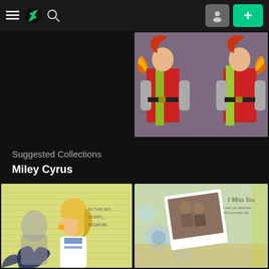[Figure (screenshot): DeviantArt navigation bar with hamburger menu, green lightning bolt logo, search icon, user icon button, and green plus button]
[Figure (photo): Black empty image placeholder on left; anime-style illustration of two characters in red and green military-style outfits with orange wing decorations on right]
Suggested Collections
Miley Cyrus
[Figure (photo): Yellow lined background with black floral design; blonde woman in white jacket on left side; text reads 'IN THIS MOMENT... COMPLETELY REMEMBER' on right]
[Figure (photo): Scrapbook-style image with polaroid photo of two people, white flowers, golden glitter background, text 'I Miss You' in top right]